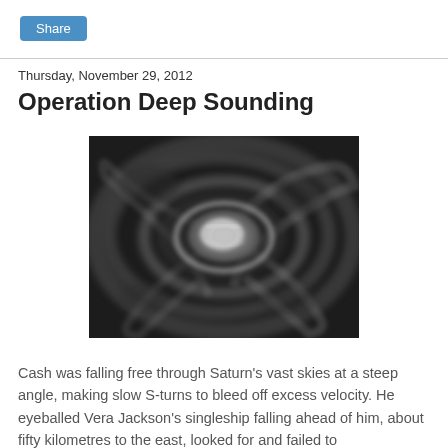Share
Thursday, November 29, 2012
Operation Deep Sounding
[Figure (photo): Black and white photograph of a large swirling storm system on Saturn, viewed from above, showing spiral cloud bands and a bright central eye structure.]
Cash was falling free through Saturn's vast skies at a steep angle, making slow S-turns to bleed off excess velocity. He eyeballed Vera Jackson's singleship falling ahead of him, about fifty kilometres to the east, looked for and failed to